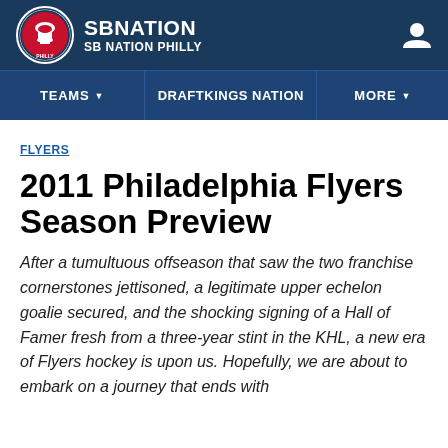SBNATION SB NATION PHILLY
TEAMS | DRAFTKINGS NATION | MORE
FLYERS
2011 Philadelphia Flyers Season Preview
After a tumultuous offseason that saw the two franchise cornerstones jettisoned, a legitimate upper echelon goalie secured, and the shocking signing of a Hall of Famer fresh from a three-year stint in the KHL, a new era of Flyers hockey is upon us. Hopefully, we are about to embark on a journey that ends with